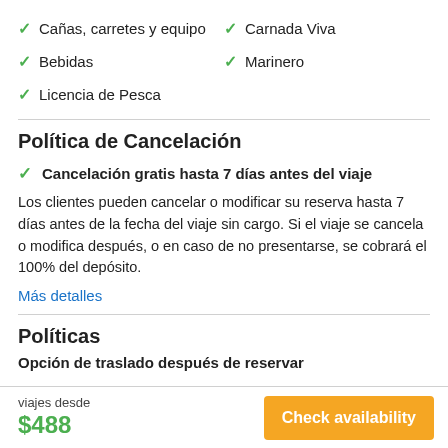Cañas, carretes y equipo
Carnada Viva
Bebidas
Marinero
Licencia de Pesca
Política de Cancelación
Cancelación gratis hasta 7 días antes del viaje
Los clientes pueden cancelar o modificar su reserva hasta 7 días antes de la fecha del viaje sin cargo. Si el viaje se cancela o modifica después, o en caso de no presentarse, se cobrará el 100% del depósito.
Más detalles
Políticas
Opción de traslado después de reservar
viajes desde
$488
Check availability